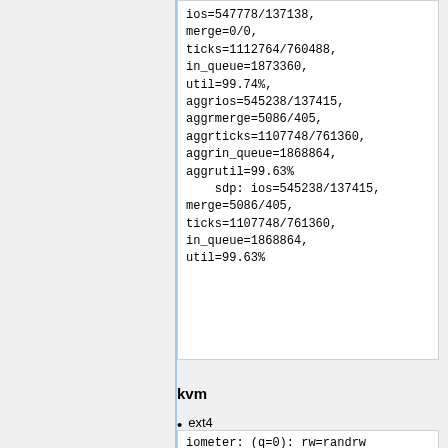ios=547778/137138,
merge=0/0,
ticks=1112764/760488,
in_queue=1873360,
util=99.74%,
aggrios=545238/137415,
aggrmerge=5086/405,
aggrticks=1107748/761360,
aggrin_queue=1868864,
aggrutil=99.63%
    sdp: ios=545238/137415,
merge=5086/405,
ticks=1107748/761360,
in_queue=1868864,
util=99.63%
kvm
ext4
rw,relatime,nobarrier,data=ordered,error
ro 0 1
iometer: (q=0): rw=randrw